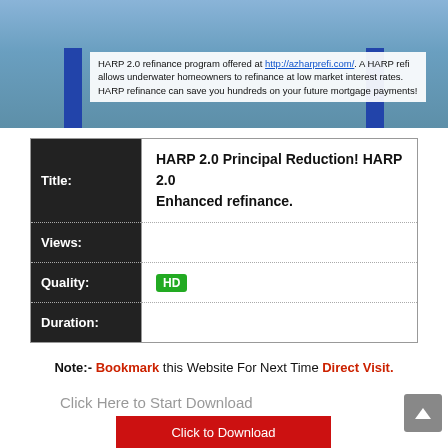[Figure (screenshot): Screenshot of a webpage showing HARP 2.0 refinance program content with blue decorative bars and a text overlay mentioning http://azharprefi.com/ and HARP refinance details.]
| Field | Value |
| --- | --- |
| Title: | HARP 2.0 Principal Reduction! HARP 2.0 Enhanced refinance. |
| Views: |  |
| Quality: | HD |
| Duration: |  |
Note:- Bookmark this Website For Next Time Direct Visit.
Click Here to Start Download
Click to Download